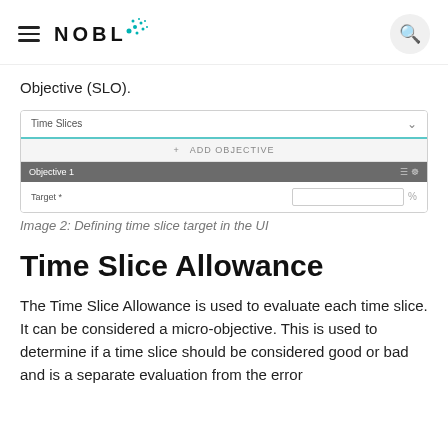NOBL (logo with search button)
Objective (SLO).
[Figure (screenshot): UI screenshot showing Time Slices dropdown with a teal underline, an '+ ADD OBJECTIVE' button area, an 'Objective 1' bar in gray, and a 'Target *' field with a percentage sign on the right.]
Image 2: Defining time slice target in the UI
Time Slice Allowance
The Time Slice Allowance is used to evaluate each time slice. It can be considered a micro-objective. This is used to determine if a time slice should be considered good or bad and is a separate evaluation from the error